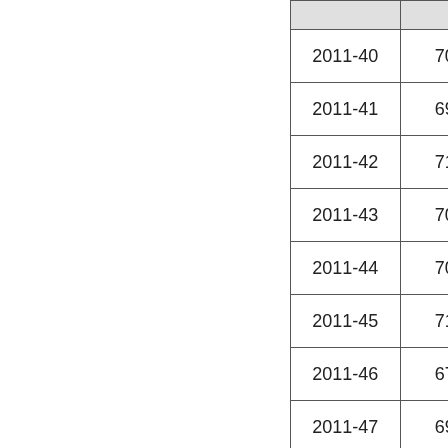|  |  |
| --- | --- |
| 2011-40 | 70 |
| 2011-41 | 69 |
| 2011-42 | 71 |
| 2011-43 | 70 |
| 2011-44 | 70 |
| 2011-45 | 71 |
| 2011-46 | 67 |
| 2011-47 | 69 |